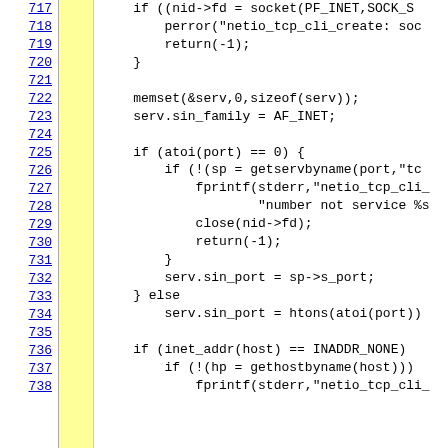[Figure (screenshot): Source code listing showing C code lines 717–738 with line numbers on the left, a yellow highlighted column, and code dealing with socket creation, memset, serv struct initialization, port handling via atoi/getservbyname, and inet_addr/gethostbyname.]